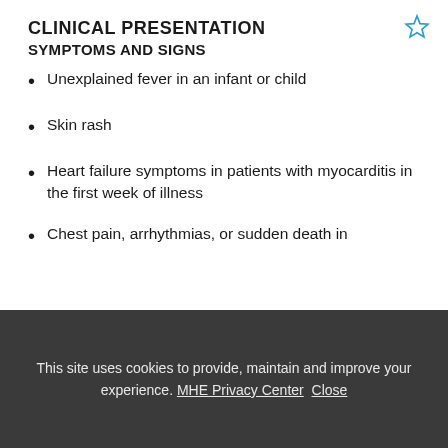CLINICAL PRESENTATION
SYMPTOMS AND SIGNS
Unexplained fever in an infant or child
Skin rash
Heart failure symptoms in patients with myocarditis in the first week of illness
Chest pain, arrhythmias, or sudden death in
This site uses cookies to provide, maintain and improve your experience. MHE Privacy Center Close